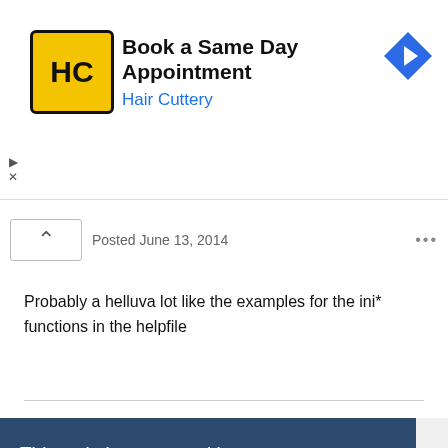[Figure (screenshot): Hair Cuttery advertisement banner with yellow logo, 'Book a Same Day Appointment' text, and blue navigation arrow icon]
Posted June 13, 2014
Probably a helluva lot like the examples for the ini* functions in the helpfile
This website uses cookies to ensure you get the best experience on our website.
Learn more
Got it!